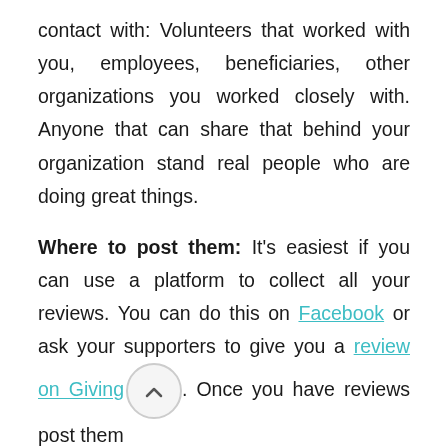contact with: Volunteers that worked with you, employees, beneficiaries, other organizations you worked closely with. Anyone that can share that behind your organization stand real people who are doing great things.
Where to post them: It's easiest if you can use a platform to collect all your reviews. You can do this on Facebook or ask your supporters to give you a review on Giving[...]. Once you have reviews post them